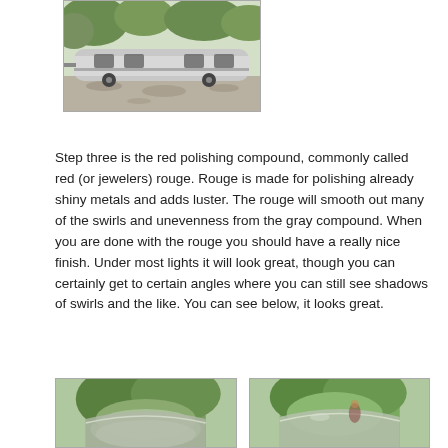[Figure (photo): An Airstream travel trailer parked on a paved surface with dappled tree shadows on the ground, surrounded by trees.]
Step three is the red polishing compound, commonly called red (or jewelers) rouge. Rouge is made for polishing already shiny metals and adds luster. The rouge will smooth out many of the swirls and unevenness from the gray compound. When you are done with the rouge you should have a really nice finish. Under most lights it will look great, though you can certainly get to certain angles where you can still see shadows of swirls and the like. You can see below, it looks great.
[Figure (photo): Close-up of the polished curved roof of an Airstream trailer reflecting greenery.]
[Figure (photo): Another close-up of the polished Airstream roof with reflections of trees and a figure visible.]